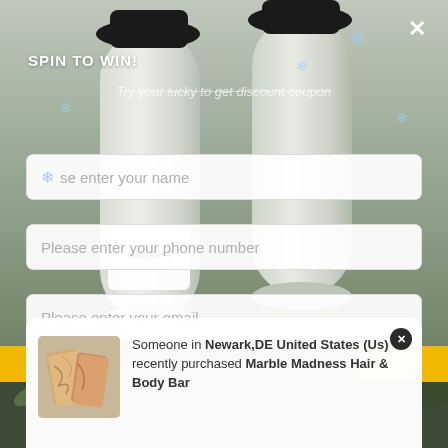[Figure (photo): Background photo of two white lotion/shampoo bottles with black caps and WAVY FAITH label, placed on dried herbs/plants]
SPIN TO WIN!
Try your lucky to get discount coupon
Please enter your name
Please enter your phone number
Please enter your email
Someone in Newark,DE United States (Us) recently purchased Marble Madness Hair & Body Bar
[Figure (photo): Small product image of Marble Madness Hair & Body Bar soap]